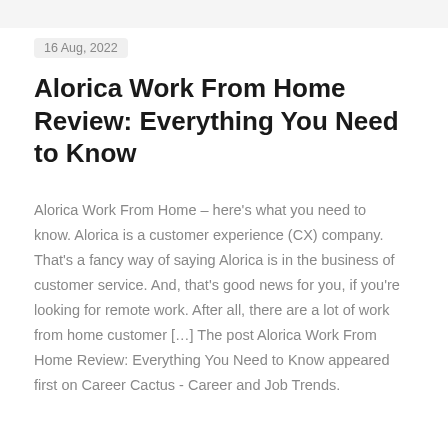16 Aug, 2022
Alorica Work From Home Review: Everything You Need to Know
Alorica Work From Home – here's what you need to know. Alorica is a customer experience (CX) company. That's a fancy way of saying Alorica is in the business of customer service. And, that's good news for you, if you're looking for remote work. After all, there are a lot of work from home customer [&#8230;] The post Alorica Work From Home Review: Everything You Need to Know appeared first on Career Cactus - Career and Job Trends.